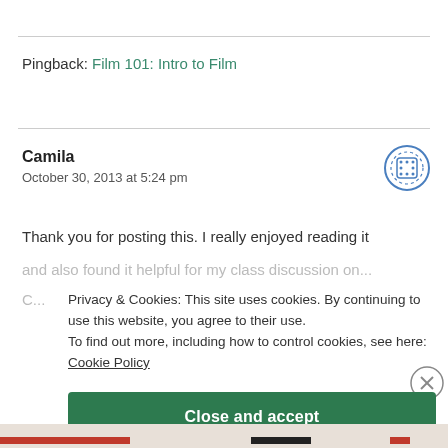Pingback: Film 101: Intro to Film
Camila
October 30, 2013 at 5:24 pm
Thank you for posting this. I really enjoyed reading it and also found it helpful for my class discussion on C...
Privacy & Cookies: This site uses cookies. By continuing to use this website, you agree to their use.
To find out more, including how to control cookies, see here:
Cookie Policy
Close and accept